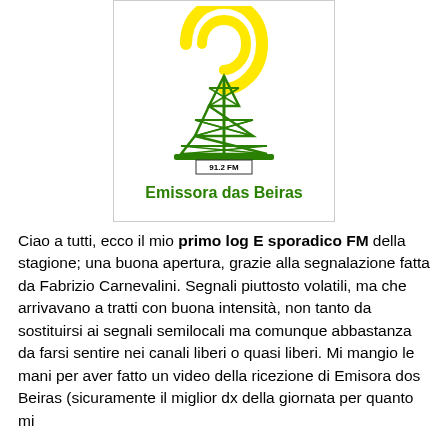[Figure (logo): Logo of Emissora das Beiras 91.2 FM: a green radio transmission tower with a yellow spiral/signal graphic at the top, text '91.2 FM' in a small box, and 'Emissora das Beiras' in large bold green letters at the bottom.]
Ciao a tutti, ecco il mio primo log E sporadico FM della stagione; una buona apertura, grazie alla segnalazione fatta da Fabrizio Carnevalini. Segnali piuttosto volatili, ma che arrivavano a tratti con buona intensità, non tanto da sostituirsi ai segnali semilocali ma comunque abbastanza da farsi sentire nei canali liberi o quasi liberi. Mi mangio le mani per aver fatto un video della ricezione di Emisora dos Beiras (sicuramente il miglior dx della giornata per quanto mi